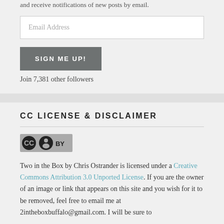and receive notifications of new posts by email.
Email Address
SIGN ME UP!
Join 7,381 other followers
CC LICENSE & DISCLAIMER
[Figure (logo): Creative Commons CC BY license badge]
Two in the Box by Chris Ostrander is licensed under a Creative Commons Attribution 3.0 Unported License. If you are the owner of an image or link that appears on this site and you wish for it to be removed, feel free to email me at 2intheboxbuffalo@gmail.com. I will be sure to